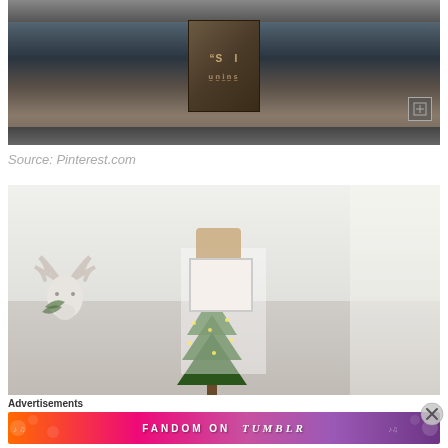[Figure (photo): Photo of a wooden crate/box on metal rails with dark industrial background, showing letters 'S' and 'I' on the wood surface]
Source: Pinterest.com
[Figure (photo): Scandinavian-style white room with a small decorated Christmas tree, a white deer head mount with antlers and greenery, a canopy in the corner, and shelving with baskets and artwork]
Advertisements
[Figure (other): Fandom on Tumblr advertisement banner with gradient orange to purple background and decorative icons]